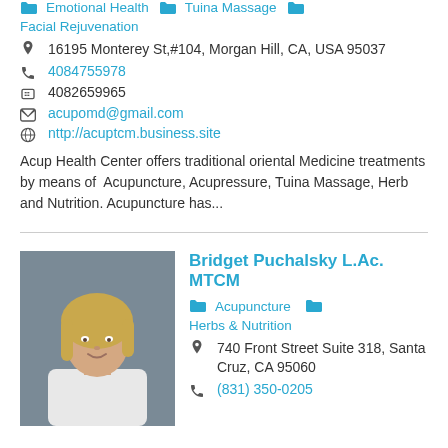Emotional Health 🗂 Tuina Massage 🗂 Facial Rejuvenation
📍 16195 Monterey St,#104, Morgan Hill, CA, USA 95037
📞 4084755978
🖨 4082659965
✉ acupomd@gmail.com
🌐 nttp://acuptcm.business.site
Acup Health Center offers traditional oriental Medicine treatments by means of Acupuncture, Acupressure, Tuina Massage, Herb and Nutrition. Acupuncture has...
[Figure (photo): Photo of Bridget Puchalsky, a woman with blonde hair wearing a white top, against a gray background]
Bridget Puchalsky L.Ac. MTCM
🗂 Acupuncture  🗂 Herbs & Nutrition
📍 740 Front Street Suite 318, Santa Cruz, CA 95060
📞 (831) 350-0205